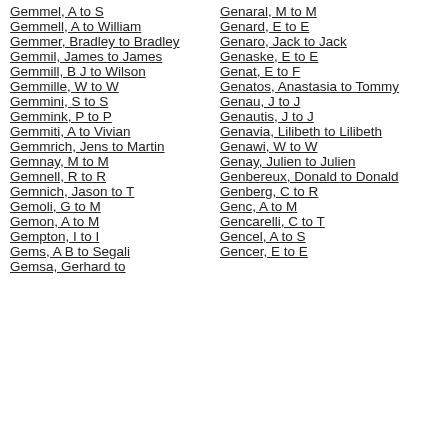Gemmel, A to S
Gemmell, A to William
Gemmer, Bradley to Bradley
Gemmil, James to James
Gemmill, B J to Wilson
Gemmille, W to W
Gemmini, S to S
Gemmink, P to P
Gemmiti, A to Vivian
Gemmrich, Jens to Martin
Gemnay, M to M
Gemnell, R to R
Gemnich, Jason to T
Gemoli, G to M
Gemon, A to M
Gempton, I to I
Gems, A B to Segali
Gemsa, Gerhard to
Genaral, M to M
Genard, E to E
Genaro, Jack to Jack
Genaske, E to E
Genat, E to F
Genatos, Anastasia to Tommy
Genau, J to J
Genautis, J to J
Genavia, Lilibeth to Lilibeth
Genawi, W to W
Genay, Julien to Julien
Genbereux, Donald to Donald
Genberg, C to R
Genc, A to M
Gencarelli, C to T
Gencel, A to S
Gencer, E to E